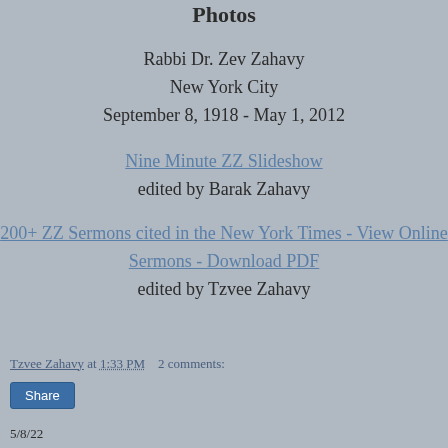Photos
Rabbi Dr. Zev Zahavy
New York City
September 8, 1918 - May 1, 2012
Nine Minute ZZ Slideshow
edited by Barak Zahavy
200+ ZZ Sermons cited in the New York Times - View Online
Sermons - Download PDF
edited by Tzvee Zahavy
Tzvee Zahavy at 1:33 PM   2 comments:
Share
5/8/22